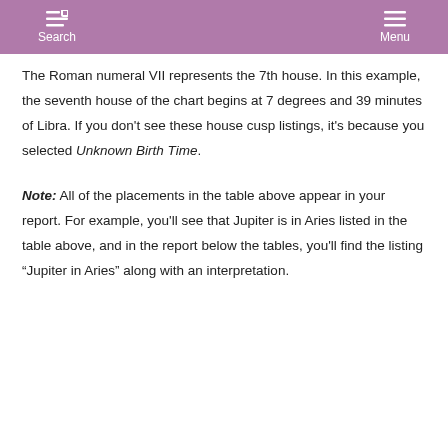Search Menu
The Roman numeral VII represents the 7th house. In this example, the seventh house of the chart begins at 7 degrees and 39 minutes of Libra. If you don't see these house cusp listings, it's because you selected Unknown Birth Time.
Note: All of the placements in the table above appear in your report. For example, you'll see that Jupiter is in Aries listed in the table above, and in the report below the tables, you'll find the listing "Jupiter in Aries" along with an interpretation.